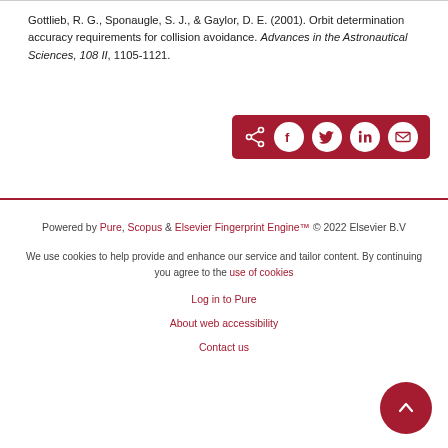Gottlieb, R. G., Sponaugle, S. J., & Gaylor, D. E. (2001). Orbit determination accuracy requirements for collision avoidance. Advances in the Astronautical Sciences, 108 II, 1105-1121.
[Figure (other): Dark red share bar with share icon and four social media circle icons: Facebook, Twitter, LinkedIn, Email]
Powered by Pure, Scopus & Elsevier Fingerprint Engine™ © 2022 Elsevier B.V
We use cookies to help provide and enhance our service and tailor content. By continuing you agree to the use of cookies
Log in to Pure
About web accessibility
Contact us